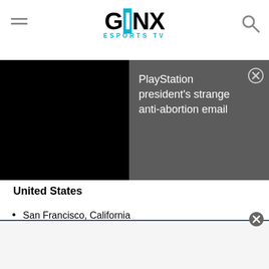GINX ESPORTS TV
[Figure (screenshot): Black video player box on the left side]
PlayStation president's strange anti-abortion email
United States
San Francisco, California
Denver, Colorado
Atlanta, Georgia
[Figure (screenshot): Bottom advertisement bar with close button]